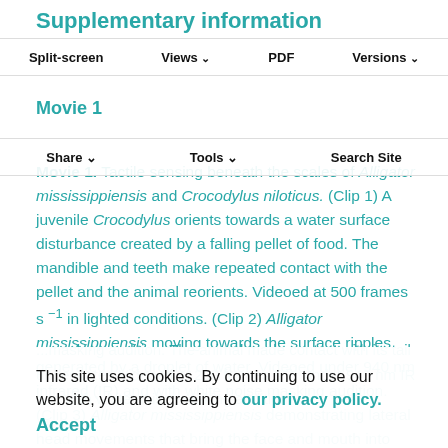Supplementary information
Movie 1
Movie 1. Tactile sensing beneath the scales of Alligator mississippiensis and Crocodylus niloticus. (Clip 1) A juvenile Crocodylus orients towards a water surface disturbance created by a falling pellet of food. The mandible and teeth make repeated contact with the pellet and the animal reorients. Videoed at 500 frames s⁻¹ in lighted conditions. (Clip 2) Alligator mississippiensis moving towards the surface ripples generated by a droplet of water. Videoed under 940 nm infrared (IR) and with white noise masking audition. (Clip 3) Alligator mississippiensis demonstrating lateral head movements that bring the face and mouth into contact with floating objects. Videoed under 940 nm IR and with white noise masking audition. (Clip 4) Crocodylus niloticus demonstrating a similar orienting behavior...
This site uses cookies. By continuing to use our website, you are agreeing to our privacy policy.
Accept